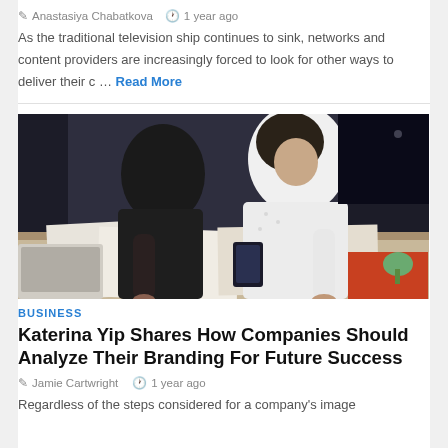✎ Anastasiya Chabatkova   🕐 1 year ago
As the traditional television ship continues to sink, networks and content providers are increasingly forced to look for other ways to deliver their c … Read More
[Figure (photo): Two people leaning over a table, working together on documents in a dark-toned office setting. One person wears black, the other wears a white blouse.]
BUSINESS
Katerina Yip Shares How Companies Should Analyze Their Branding For Future Success
✎ Jamie Cartwright   🕐 1 year ago
Regardless of the steps considered for a company's image...